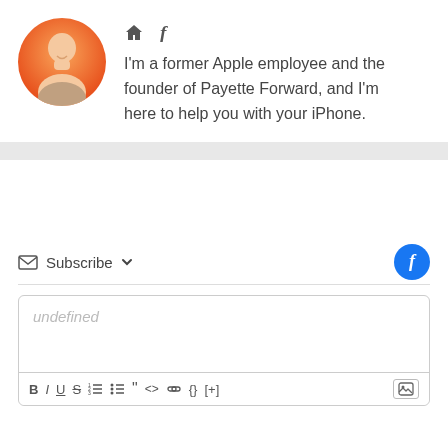[Figure (illustration): Circular avatar icon of a person with orange/gradient background, showing a stylized human silhouette]
I'm a former Apple employee and the founder of Payette Forward, and I'm here to help you with your iPhone.
Subscribe
[Figure (screenshot): Comment text editor box with placeholder text 'undefined' and formatting toolbar with B, I, U, S, ordered list, unordered list, blockquote, code, link, braces, [+], and image buttons]